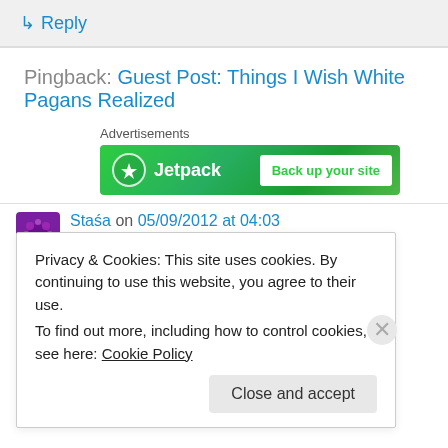↳ Reply
Pingback: Guest Post: Things I Wish White Pagans Realized
[Figure (other): Jetpack advertisement banner – green background with Jetpack logo and 'Back up your site' button]
Staśa on 05/09/2012 at 04:03
Privacy & Cookies: This site uses cookies. By continuing to use this website, you agree to their use.
To find out more, including how to control cookies, see here: Cookie Policy